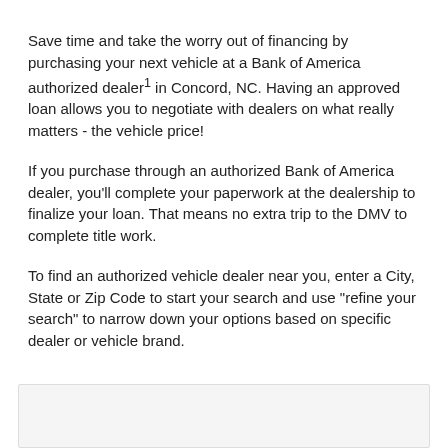Save time and take the worry out of financing by purchasing your next vehicle at a Bank of America authorized dealer¹ in Concord, NC. Having an approved loan allows you to negotiate with dealers on what really matters - the vehicle price!
If you purchase through an authorized Bank of America dealer, you'll complete your paperwork at the dealership to finalize your loan. That means no extra trip to the DMV to complete title work.
To find an authorized vehicle dealer near you, enter a City, State or Zip Code to start your search and use "refine your search" to narrow down your options based on specific dealer or vehicle brand.
[Figure (other): Light gray box at the bottom of the page, likely a UI search widget or input area]